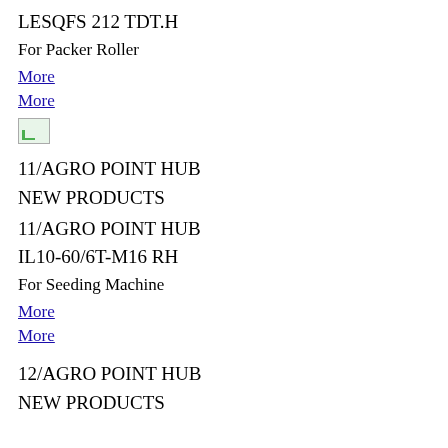LESQFS 212 TDT.H
For Packer Roller
More
More
[Figure (photo): Small broken image placeholder]
11/AGRO POINT HUB
NEW PRODUCTS
11/AGRO POINT HUB
IL10-60/6T-M16 RH
For Seeding Machine
More
More
12/AGRO POINT HUB
NEW PRODUCTS